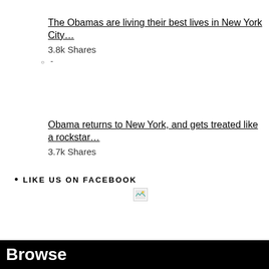The Obamas are living their best lives in New York City…
3.8k Shares
-
Obama returns to New York, and gets treated like a rockstar…
3.7k Shares
LIKE US ON FACEBOOK
[Figure (other): Broken/missing image placeholder]
Browse